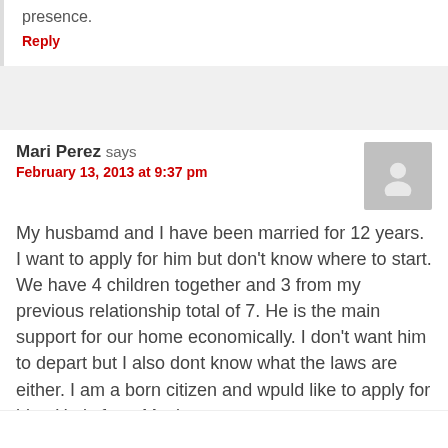presence.
Reply
Mari Perez says
February 13, 2013 at 9:37 pm
My husbamd and I have been married for 12 years. I want to apply for him but don't know where to start. We have 4 children together and 3 from my previous relationship total of 7. He is the main support for our home economically. I don't want him to depart but I also dont know what the laws are either. I am a born citizen and wpuld like to apply for him. He is from Mexico.
Reply